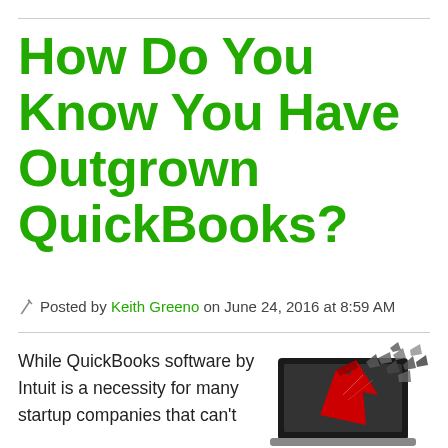How Do You Know You Have Outgrown QuickBooks?
Posted by Keith Greeno on June 24, 2016 at 8:59 AM
While QuickBooks software by Intuit is a necessity for many startup companies that can't
[Figure (illustration): Laptop computer with a red arrow bursting through the screen, shattering it, symbolizing outgrowing software]